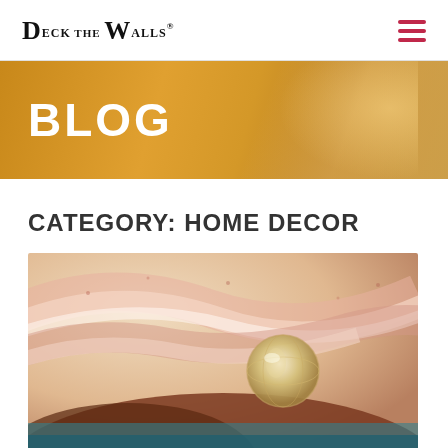Deck The Walls
[Figure (other): Blog banner with golden/amber gradient background and large white 'BLOG' text]
CATEGORY: HOME DECOR
[Figure (photo): Abstract painting with swirling brush strokes in warm pink, cream, and gold tones with a circular glass marble or orb element]